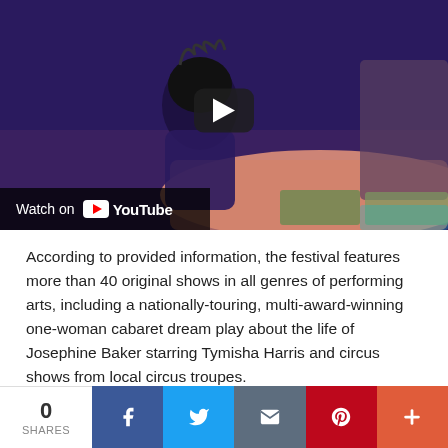[Figure (screenshot): YouTube video thumbnail showing two actors on a stage with a pink bed prop. A play button is visible center-right. A 'Watch on YouTube' overlay bar appears at the bottom-left of the video.]
According to provided information, the festival features more than 40 original shows in all genres of performing arts, including a nationally-touring, multi-award-winning one-woman cabaret dream play about the life of Josephine Baker starring Tymisha Harris and circus shows from local circus troupes.
With venues that include theaters and photo studios, you're
0 SHARES | Facebook | Twitter | Email | Pinterest | More